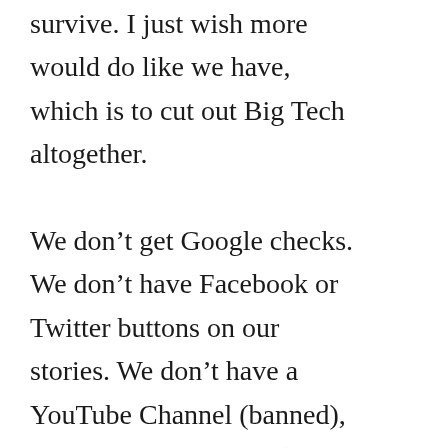survive. I just wish more would do like we have, which is to cut out Big Tech altogether.

We don't get Google checks. We don't have Facebook or Twitter buttons on our stories. We don't have a YouTube Channel (banned), and Instagram profile (never made one), or a TikTok (no thanks, CCO). We're not perfect, but we're doing everything we can to not owe anything to anyone, other than our readers. We owe